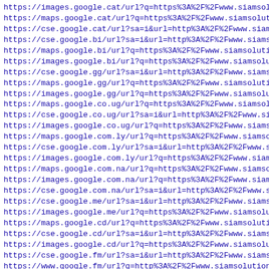https://images.google.cat/url?q=https%3A%2F%2Fwww.siamsolut
https://maps.google.cat/url?q=https%3A%2F%2Fwww.siamsolutio
https://cse.google.cat/url?sa=i&url=http%3A%2F%2Fwww.siamso
https://cse.google.bi/url?sa=i&url=http%3A%2F%2Fwww.siamsol
https://maps.google.bi/url?q=https%3A%2F%2Fwww.siamsolution
https://images.google.bi/url?q=https%3A%2F%2Fwww.siamsoluti
https://cse.google.gg/url?sa=i&url=http%3A%2F%2Fwww.siamsol
https://maps.google.gg/url?q=https%3A%2F%2Fwww.siamsolution
https://images.google.gg/url?q=https%3A%2F%2Fwww.siamsoluti
https://maps.google.co.ug/url?q=https%3A%2F%2Fwww.siamsolut
https://cse.google.co.ug/url?sa=i&url=http%3A%2F%2Fwww.siam
https://images.google.co.ug/url?q=https%3A%2F%2Fwww.siamsol
https://maps.google.com.ly/url?q=https%3A%2F%2Fwww.siamsolut
https://cse.google.com.ly/url?sa=i&url=http%3A%2F%2Fwww.sia
https://images.google.com.ly/url?q=https%3A%2F%2Fwww.siamso
https://maps.google.com.na/url?q=https%3A%2F%2Fwww.siamsolut
https://images.google.com.na/url?q=https%3A%2F%2Fwww.siamso
https://cse.google.com.na/url?sa=i&url=http%3A%2F%2Fwww.sia
https://cse.google.me/url?sa=i&url=http%3A%2F%2Fwww.siamsol
https://images.google.me/url?q=https%3A%2F%2Fwww.siamsoluti
https://maps.google.cd/url?q=https%3A%2F%2Fwww.siamsolution
https://cse.google.cd/url?sa=i&url=http%3A%2F%2Fwww.siamsol
https://images.google.cd/url?q=https%3A%2F%2Fwww.siamsoluti
https://cse.google.fm/url?sa=i&url=http%3A%2F%2Fwww.siamsol
https://www.google.fm/url?q=http%3A%2F%2Fwww.siamsolutions.
https://maps.google.fm/url?q=https%3A%2F%2Fwww.siamsolution
https://images.google.fm/url?q=https%3A%2F%2Fwww.siamsoluti
https://cse.google.as/url?sa=i&url=http%3A%2F%2Fwww.siamsol
https://images.google.as/url?q=https%3A%2F%2Fwww.siamsoluti
https://maps.google.as/url?q=https%3A%2F%2Fwww.siamsolution